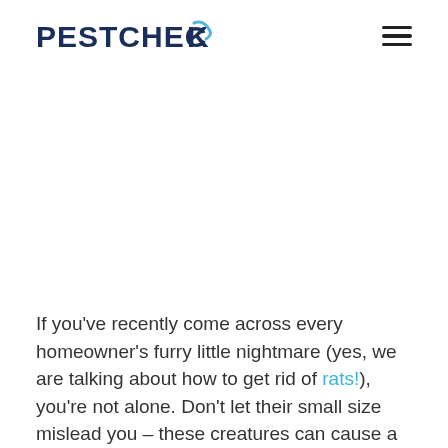PESTCHECK
If you’ve recently come across every homeowner’s furry little nightmare (yes, we are talking about how to get rid of rats!), you’re not alone. Don’t let their small size mislead you – these creatures can cause a great deal of damage to your house, contaminating